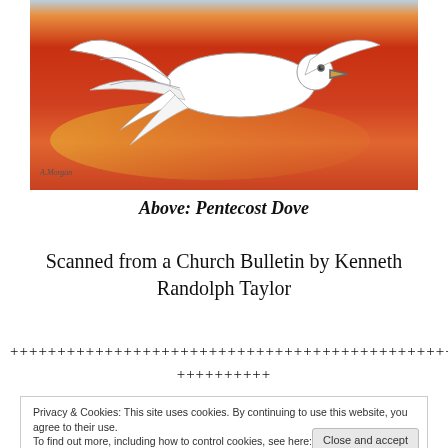[Figure (illustration): Painting of a white dove in flight against a vivid orange-red background, scanned from a church bulletin artwork titled Pentecost Dove by Kenneth Randolph Taylor.]
Above:  Pentecost Dove
Scanned from a Church Bulletin by Kenneth Randolph Taylor
++++++++++++++++++++++++++++++++++++++++++++++++++++
++++++++++
Privacy & Cookies: This site uses cookies. By continuing to use this website, you agree to their use.
To find out more, including how to control cookies, see here: Cookie Policy
Close and accept